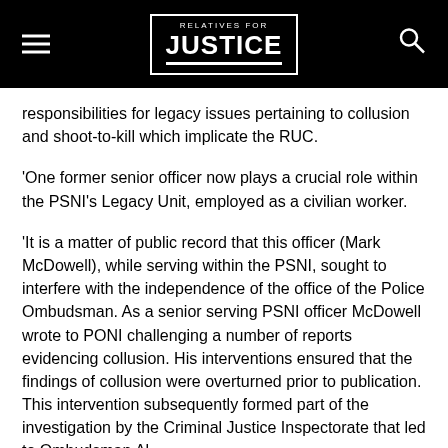RELATIVES FOR JUSTICE
responsibilities for legacy issues pertaining to collusion and shoot-to-kill which implicate the RUC.
‘One former senior officer now plays a crucial role within the PSNI’s Legacy Unit, employed as a civilian worker.
‘It is a matter of public record that this officer (Mark McDowell), while serving within the PSNI, sought to interfere with the independence of the office of the Police Ombudsman. As a senior serving PSNI officer McDowell wrote to PONI challenging a number of reports evidencing collusion. His interventions ensured that the findings of collusion were overturned prior to publication. This intervention subsequently formed part of the investigation by the Criminal Justice Inspectorate that led to Ombudsman Al